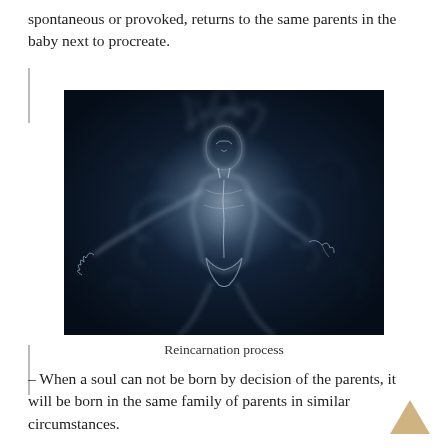spontaneous or provoked, returns to the same parents in the baby next to procreate.
[Figure (photo): A ghostly, smoke-formed human figure against a dark background, illustrating the concept of a soul or spirit in motion — artistic reincarnation imagery.]
Reincarnation process
– When a soul can not be born by decision of the parents, it will be born in the same family of parents in similar circumstances.